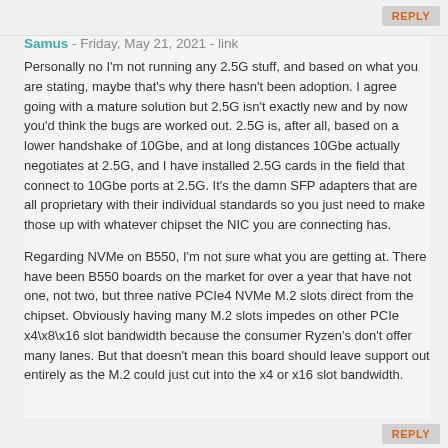REPLY
Samus - Friday, May 21, 2021 - link
Personally no I'm not running any 2.5G stuff, and based on what you are stating, maybe that's why there hasn't been adoption. I agree going with a mature solution but 2.5G isn't exactly new and by now you'd think the bugs are worked out. 2.5G is, after all, based on a lower handshake of 10Gbe, and at long distances 10Gbe actually negotiates at 2.5G, and I have installed 2.5G cards in the field that connect to 10Gbe ports at 2.5G. It's the damn SFP adapters that are all proprietary with their individual standards so you just need to make those up with whatever chipset the NIC you are connecting has.
Regarding NVMe on B550, I'm not sure what you are getting at. There have been B550 boards on the market for over a year that have not one, not two, but three native PCIe4 NVMe M.2 slots direct from the chipset. Obviously having many M.2 slots impedes on other PCIe x4\x8\x16 slot bandwidth because the consumer Ryzen's don't offer many lanes. But that doesn't mean this board should leave support out entirely as the M.2 could just cut into the x4 or x16 slot bandwidth.
REPLY